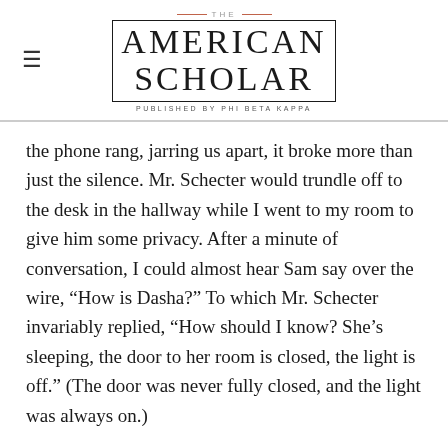THE AMERICAN SCHOLAR — PUBLISHED BY PHI BETA KAPPA
the phone rang, jarring us apart, it broke more than just the silence. Mr. Schecter would trundle off to the desk in the hallway while I went to my room to give him some privacy. After a minute of conversation, I could almost hear Sam say over the wire, “How is Dasha?” To which Mr. Schecter invariably replied, “How should I know? She’s sleeping, the door to her room is closed, the light is off.” (The door was never fully closed, and the light was always on.)
These disruptions, when I abruptly disappeared from